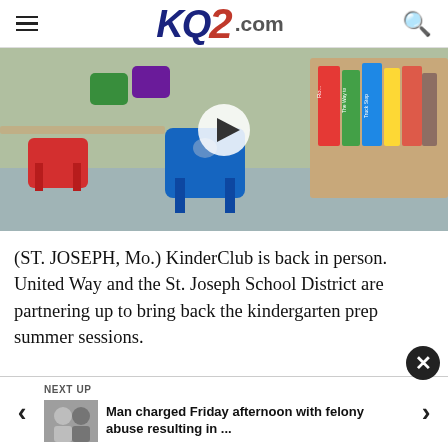KQ2.com
[Figure (photo): Classroom photo showing colorful plastic chairs (red, blue, green, purple) and a bookshelf with children's books in the background. A play button overlay is centered on the image indicating a video.]
(ST. JOSEPH, Mo.) KinderClub is back in person. United Way and the St. Joseph School District are partnering up to bring back the kindergarten prep summer sessions.
NEXT UP
[Figure (photo): Thumbnail image of person for next up news item]
Man charged Friday afternoon with felony abuse resulting in ...